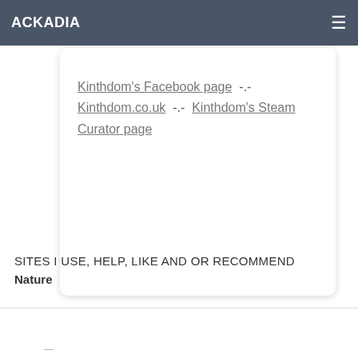ACKADIA
Kinthdom's Facebook page  -.-  Kinthdom.co.uk  -.-  Kinthdom's Steam Curator page
SITES I USE, HELP, LIKE AND OR RECOMMEND
Nature